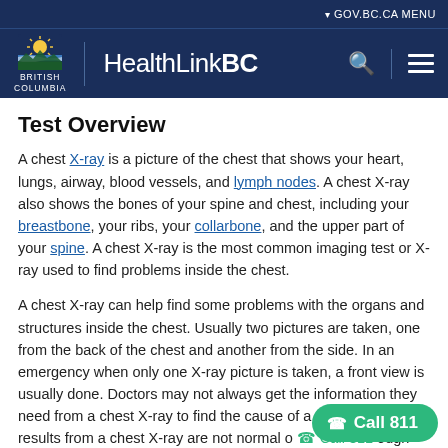GOV.BC.CA MENU | HealthLinkBC
Test Overview
A chest X-ray is a picture of the chest that shows your heart, lungs, airway, blood vessels, and lymph nodes. A chest X-ray also shows the bones of your spine and chest, including your breastbone, your ribs, your collarbone, and the upper part of your spine. A chest X-ray is the most common imaging test or X-ray used to find problems inside the chest.
A chest X-ray can help find some problems with the organs and structures inside the chest. Usually two pictures are taken, one from the back of the chest and another from the side. In an emergency when only one X-ray picture is taken, a front view is usually done. Doctors may not always get the information they need from a chest X-ray to find the cause of a problem. If the results from a chest X-ray are not normal or though